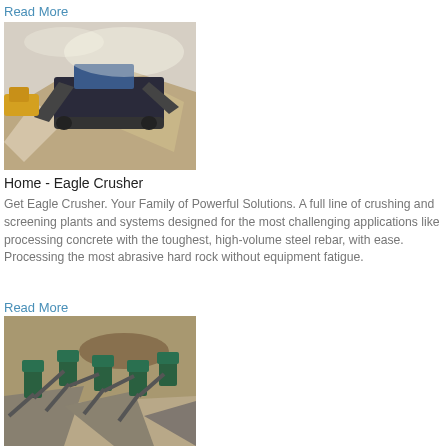Read More
[Figure (photo): Aerial/ground view of Eagle Crusher mobile crushing equipment operating in a quarry with sand and gravel piles]
Home - Eagle Crusher
Get Eagle Crusher. Your Family of Powerful Solutions. A full line of crushing and screening plants and systems designed for the most challenging applications like processing concrete with the toughest, high-volume steel rebar, with ease. Processing the most abrasive hard rock without equipment fatigue.
Read More
[Figure (photo): Aerial view of Eagle Crusher stationary screening plant complex with green equipment and conveyor belts at a quarry site]